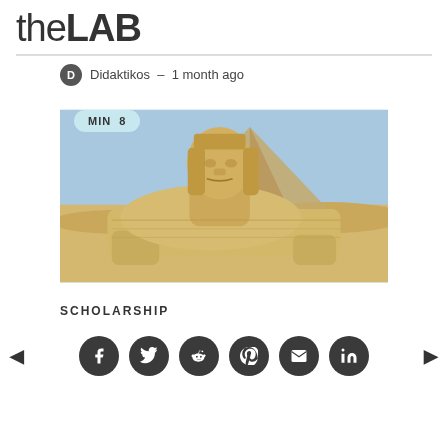theLAB
Didaktikos – 1 month ago
[Figure (photo): Photo of the Great Sphinx of Giza with a pyramid visible in the background under a clear blue sky. An overlay badge reads MIN 8.]
SCHOLARSHIP
Social share buttons: Facebook, Twitter, Reddit, Pinterest, Email, LinkedIn. Navigation arrows left and right.